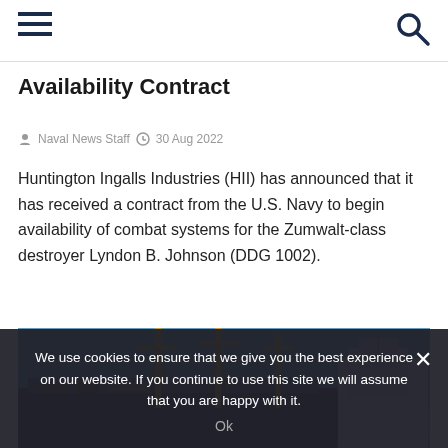Availability Contract
Naval News Staff  30 Aug 2022
Huntington Ingalls Industries (HII) has announced that it has received a contract from the U.S. Navy to begin availability of combat systems for the Zumwalt-class destroyer Lyndon B. Johnson (DDG 1002).
[Figure (photo): Ship in drydock/harbor, cranes visible, naval vessel under maintenance]
We use cookies to ensure that we give you the best experience on our website. If you continue to use this site we will assume that you are happy with it.
Ok